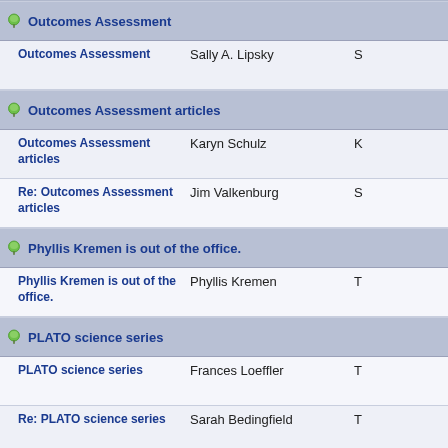Outcomes Assessment
Outcomes Assessment | Sally A. Lipsky
Outcomes Assessment articles
Outcomes Assessment articles | Karyn Schulz
Re: Outcomes Assessment articles | Jim Valkenburg
Phyllis Kremen is out of the office.
Phyllis Kremen is out of the office. | Phyllis Kremen
PLATO science series
PLATO science series | Frances Loeffler
Re: PLATO science series | Sarah Bedingfield
Position Announcement
Re: Position Announcement | Diane Arnzen
Position Opening -- Director Learning Skills Development Program at N